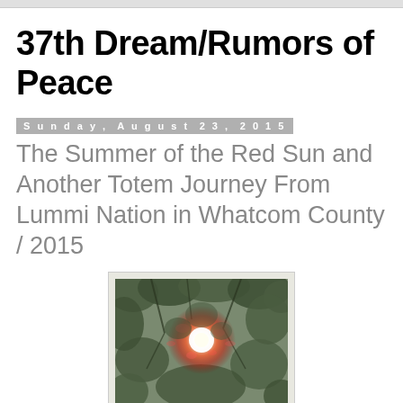37th Dream/Rumors of Peace
Sunday, August 23, 2015
The Summer of the Red Sun and Another Totem Journey From Lummi Nation in Whatcom County / 2015
[Figure (photo): A photograph showing a red sun glowing through tree foliage, with pink-red light filtering through dark green leaves and branches against a muted sky.]